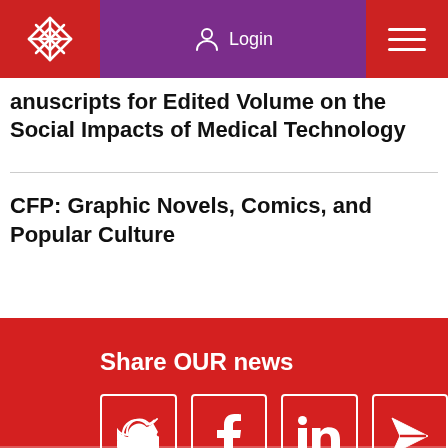Login
anuscripts for Edited Volume on the Social Impacts of Medical Technology
CFP: Graphic Novels, Comics, and Popular Culture
Share OUR news
[Figure (infographic): Social media sharing icons: Twitter, Facebook, LinkedIn, and direct share, each in a white-bordered square on red background]